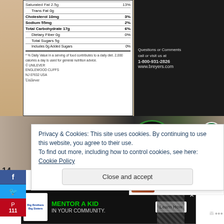[Figure (photo): Nutrition facts label from Breyers ice cream packaging showing Saturated Fat 2.5g 13%, Trans Fat 0g, Cholesterol 10mg 3%, Sodium 55mg 2%, Total Carbohydrate 17g 6%, Dietary Fiber 0g 0%, Total Sugars 5g, Includes 0g Added Sugars 0%. Side panel shows contact info: Questions or Comments call or visit us at 1-800-931-2826 www.breyers.com. Bottom shows Unilever Englewood Cliffs NJ 07632 USA with Certified Vanilla badge.]
Privacy & Cookies: This site uses cookies. By continuing to use this website, you agree to their use. To find out more, including how to control cookies, see here: Cookie Policy
Close and accept
WHAT'S NEXT → Low Carb Fall Punch
The Strawberries:
[Figure (photo): Advertisement banner for Big Brothers Big Sisters: MENTOR A KID IN YOUR COMMUNITY. Learn How button.]